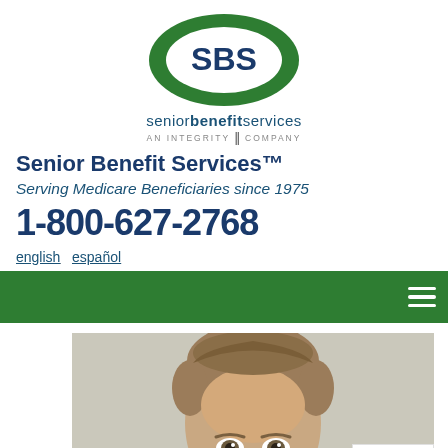[Figure (logo): SBS - Senior Benefit Services logo. Oval shape with green background and blue SBS text. Below: 'seniorbenefitservices' and 'AN INTEGRITY COMPANY']
Senior Benefit Services™
Serving Medicare Beneficiaries since 1975
1-800-627-2768
english   español
[Figure (screenshot): Green navigation bar with hamburger menu icon on right]
[Figure (photo): Headshot of a young man with light brown hair pulled back, against a light gray background. Partial view showing face and top of head.]
This site k the invisibl